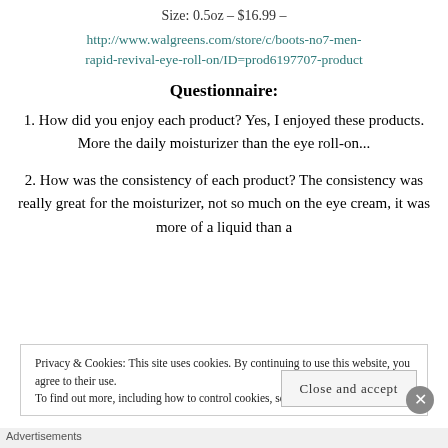Size: 0.5oz – $16.99 –
http://www.walgreens.com/store/c/boots-no7-men-rapid-revival-eye-roll-on/ID=prod6197707-product
Questionnaire:
1. How did you enjoy each product? Yes, I enjoyed these products. More the daily moisturizer than the eye roll-on...
2. How was the consistency of each product? The consistency was really great for the moisturizer, not so much on the eye cream, it was more of a liquid than a
Privacy & Cookies: This site uses cookies. By continuing to use this website, you agree to their use.
To find out more, including how to control cookies, see here: Cookie Policy
Close and accept
Advertisements